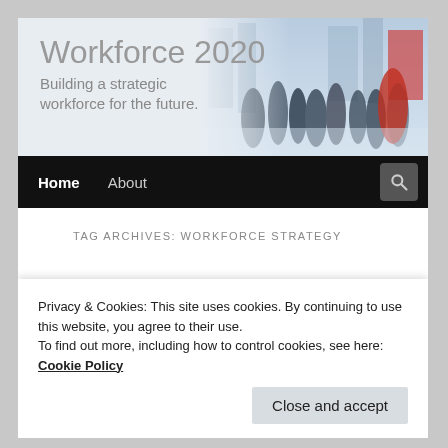Workforce 2020 — Building a strategic workforce for the future.
TAG ARCHIVES: WORKFORCE STRATEGY
The role of HR
Privacy & Cookies: This site uses cookies. By continuing to use this website, you agree to their use. To find out more, including how to control cookies, see here: Cookie Policy
Close and accept